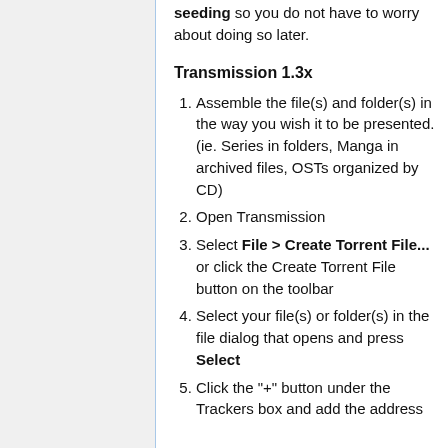seeding so you do not have to worry about doing so later.
Transmission 1.3x
Assemble the file(s) and folder(s) in the way you wish it to be presented. (ie. Series in folders, Manga in archived files, OSTs organized by CD)
Open Transmission
Select File > Create Torrent File... or click the Create Torrent File button on the toolbar
Select your file(s) or folder(s) in the file dialog that opens and press Select
Click the "+" button under the Trackers box and add the address